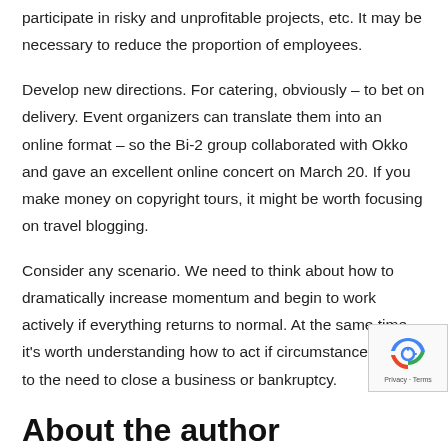participate in risky and unprofitable projects, etc. It may be necessary to reduce the proportion of employees.
Develop new directions. For catering, obviously – to bet on delivery. Event organizers can translate them into an online format – so the Bi-2 group collaborated with Okko and gave an excellent online concert on March 20. If you make money on copyright tours, it might be worth focusing on travel blogging.
Consider any scenario. We need to think about how to dramatically increase momentum and begin to work actively if everything returns to normal. At the same time, it's worth understanding how to act if circumstances lead to the need to close a business or bankruptcy.
About the author
Melisa Marzett is a freelancer who has more than 5 years of